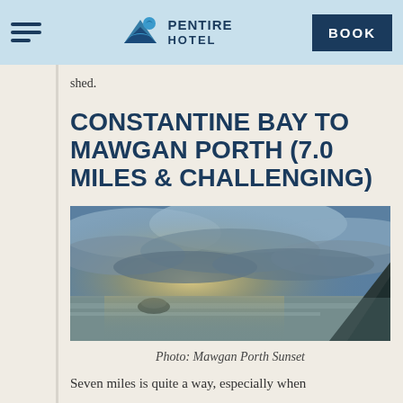Pentire Hotel — BOOK
shed.
CONSTANTINE BAY TO MAWGAN PORTH (7.0 MILES & CHALLENGING)
[Figure (photo): Coastal sunset scene at Mawgan Porth with dramatic cloudy sky, sunrays breaking through clouds, calm water reflecting light, and a rocky headland silhouette on the right]
Photo: Mawgan Porth Sunset
Seven miles is quite a way, especially when